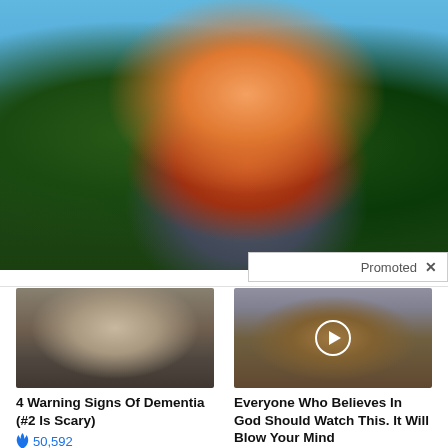[Figure (photo): Fitness woman in red sports bra flexing bicep outdoors against green hedge background with blue sky]
Herbeauty
Promoted ×
[Figure (photo): Elderly person sitting on bed, appearing distressed or confused, in a dimly lit bedroom]
4 Warning Signs Of Dementia (#2 Is Scary)
50,592
[Figure (photo): Cemetery with wooden crosses at dusk or twilight, with a play button overlay indicating video content]
Everyone Who Believes In God Should Watch This. It Will Blow Your Mind
2,857,421